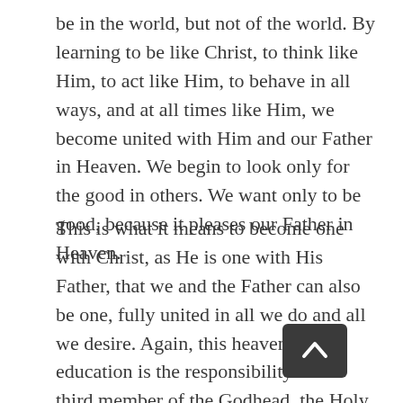be in the world, but not of the world. By learning to be like Christ, to think like Him, to act like Him, to behave in all ways, and at all times like Him, we become united with Him and our Father in Heaven. We begin to look only for the good in others. We want only to be good, because it pleases our Father in Heaven.
This is what it means to become one with Christ, as He is one with His Father, that we and the Father can also be one, fully united in all we do and all we desire. Again, this heavenly education is the responsibility of the third member of the Godhead, the Holy Ghost. He is the great teacher. He learns the will of God and teaches it to us in all things. He prompts us to act as Jesus would have acted in our